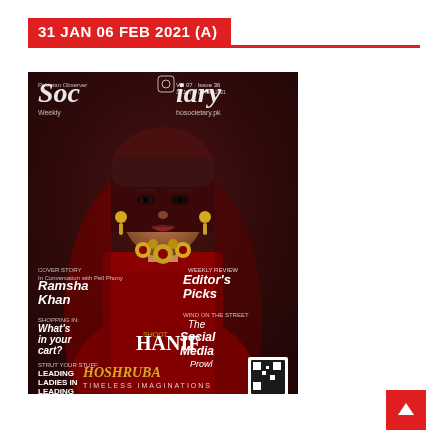31 JAN 06 FEB 2021 (A)
[Figure (photo): Magazine cover of 'Social Diary Weekly' (Pakistan Observer), Vol 07 Issue 36, dated 31 Jan - 06 Feb 2021. Cover features a woman in bridal red attire with gold jewelry. Text includes: Ramsha Khan, Editor's Picks, The Social Media Prowl, What's in your cart?, Leading Ladies in Leading Designs, Hanif, Hoshruba Timeless Imaginations.]